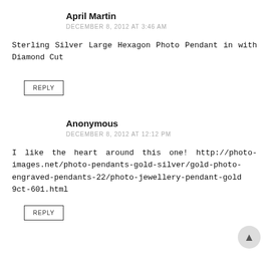April Martin
DECEMBER 8, 2012 AT 3:46 AM
Sterling Silver Large Hexagon Photo Pendant in with Diamond Cut
REPLY
Anonymous
DECEMBER 8, 2012 AT 12:12 PM
I like the heart around this one! http://photo-images.net/photo-pendants-gold-silver/gold-photo-engraved-pendants-22/photo-jewellery-pendant-gold 9ct-601.html
REPLY